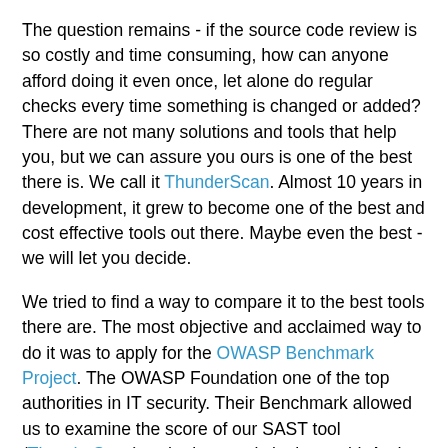The question remains - if the source code review is so costly and time consuming, how can anyone afford doing it even once, let alone do regular checks every time something is changed or added? There are not many solutions and tools that help you, but we can assure you ours is one of the best there is. We call it ThunderScan. Almost 10 years in development, it grew to become one of the best and cost effective tools out there. Maybe even the best - we will let you decide.
We tried to find a way to compare it to the best tools there are. The most objective and acclaimed way to do it was to apply for the OWASP Benchmark Project. The OWASP Foundation one of the top authorities in IT security. Their Benchmark allowed us to examine the score of our SAST tool (ThunderScan) to the best tools in the world. And our results were impressive - we managed to find way more vulnerabilities than any other commercial tool.
We encourage you to try our tool yourself and make your own opinion. You can grab a free trial by clicking HERE. No